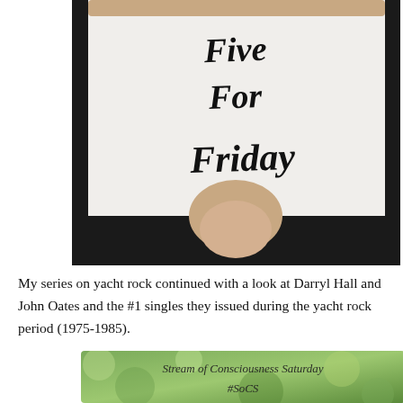[Figure (photo): A hand holding up a white card with the words 'Five For Friday' written in a handwritten script font, against a black background.]
My series on yacht rock continued with a look at Darryl Hall and John Oates and the #1 singles they issued during the yacht rock period (1975-1985).
[Figure (photo): A blurred green bokeh background with text reading 'Stream of Consciousness Saturday' and '#SoCS' in an italic serif font.]